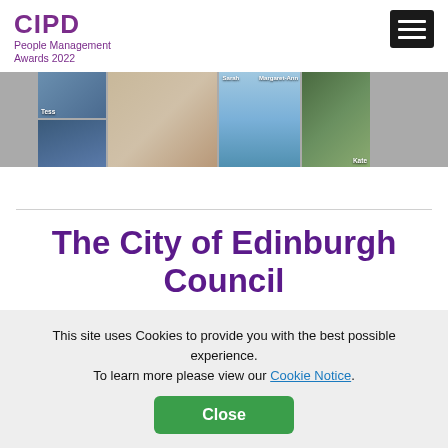CIPD People Management Awards 2022
[Figure (photo): A horizontal photo strip showing four panels: two stacked photos on the left (person with sunglasses outdoors, holiday home), a large portrait of a smiling woman with red hair, a person walking a dog on a beach labeled Margaret-Ann and Sarah, and a person walking on a forest path labeled Kate.]
The City of Edinburgh Council
This site uses Cookies to provide you with the best possible experience. To learn more please view our Cookie Notice.
From the start, the HR team at the City of